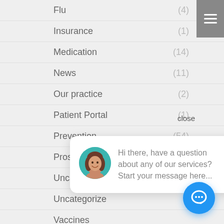Flu (4)
Insurance (1)
Medication (14)
News (11)
Our practice (2)
Patient Portal (1)
Prevention (54)
Prostate
Uncategorize
Uncategorize
Vaccines
Women's Health
close
[Figure (screenshot): Chat popup bubble with avatar photo of smiling woman with brown hair, teal circular background. Text reads: Hi there, have a question about any of our services? Start your message here...]
[Figure (other): Blue circular chat/message icon button at bottom right]